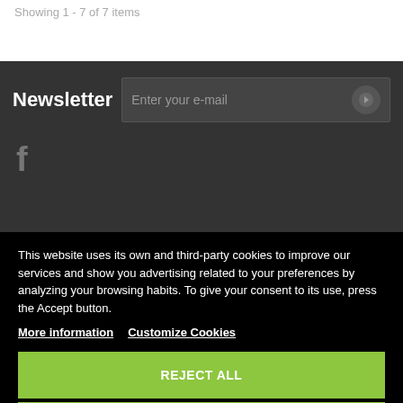Showing 1 - 7 of 7 items
Newsletter
Enter your e-mail
[Figure (logo): Facebook icon - stylized lowercase f in gray]
Categories
Information
This website uses its own and third-party cookies to improve our services and show you advertising related to your preferences by analyzing your browsing habits. To give your consent to its use, press the Accept button.
More information
Customize Cookies
REJECT ALL
I ACCEPT
[Figure (logo): Payment logos: Mastercard, VISA, and another payment provider]